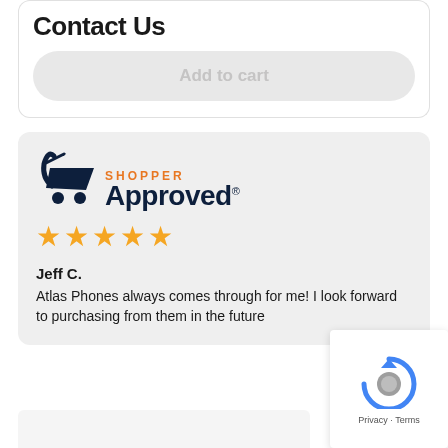Contact Us
Add to cart
[Figure (logo): Shopper Approved logo with checkmark icon, orange SHOPPER text, dark navy Approved text with registered trademark symbol, and five orange stars below]
Jeff C.
Atlas Phones always comes through for me! I look forward to purchasing from them in the future
[Figure (other): Google reCAPTCHA widget with spinning arrows icon and Privacy · Terms footer text]